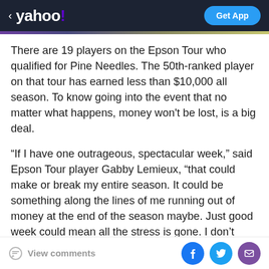yahoo! Get App
There are 19 players on the Epson Tour who qualified for Pine Needles. The 50th-ranked player on that tour has earned less than $10,000 all season. To know going into the event that no matter what happens, money won't be lost, is a big deal.
“If I have one outrageous, spectacular week,” said Epson Tour player Gabby Lemieux, “that could make or break my entire season. It could be something along the lines of me running out of money at the end of the season maybe. Just good week could mean all the stress is gone. I don’t have to worry about having to eat McDonald’s. I could go out and have a steak if I want.”
View comments